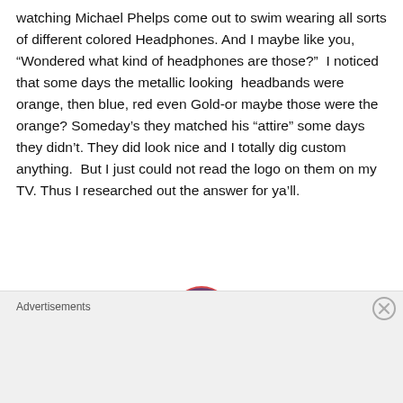watching Michael Phelps come out to swim wearing all sorts of different colored Headphones. And I maybe like you, “Wondered what kind of headphones are those?”  I noticed that some days the metallic looking  headbands were orange, then blue, red even Gold-or maybe those were the orange? Someday’s they matched his “attire” some days they didn’t. They did look nice and I totally dig custom anything.  But I just could not read the logo on them on my TV. Thus I researched out the answer for ya’ll.
[Figure (photo): A pair of headphones with a Union Jack (British flag) pattern on the ear cups and headband, black frame, photographed on white background.]
Advertisements